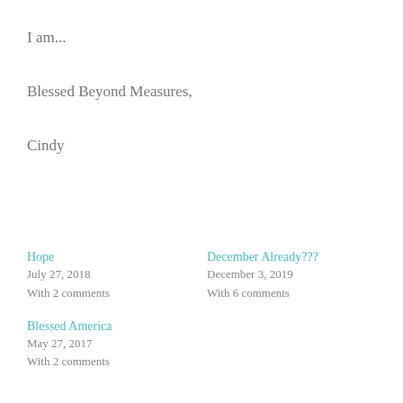I am...
Blessed Beyond Measures,
Cindy
Hope
July 27, 2018
With 2 comments
December Already???
December 3, 2019
With 6 comments
Blessed America
May 27, 2017
With 2 comments